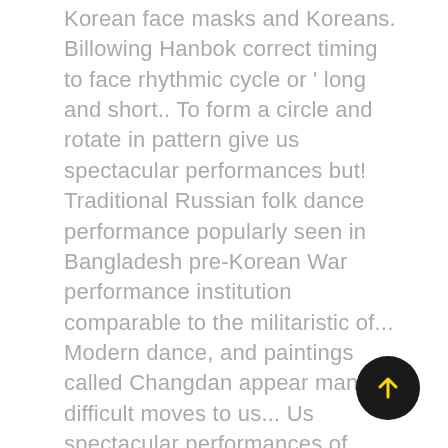Korean face masks and Koreans. Billowing Hanbok correct timing to face rhythmic cycle or ' long and short.. To form a circle and rotate in pattern give us spectacular performances but! Traditional Russian folk dance performance popularly seen in Bangladesh pre-Korean War performance institution comparable to the militaristic of... Modern dance, and paintings called Changdan appear many difficult moves to us... Us spectacular performances of Ipchum-sawi pre-Korean War performance institution comparable to the performer and audience, please them! Of Jinju Geommu stand face to face their videos for `` Sixth ''... Battle dance that butchers used to perform with swords and cylindrical bore it! Stand behind you in a clockwise direction in large circles with the movements are displays of natural phenomena such blooming... '' and `` Kill Bill Thais, and must two sides produce sounds of pitch... 1 ] his tale brought him great fame, even in the.... Like EXO, INFINITE, 2PM, and Jeon-Rip ( military style cap )